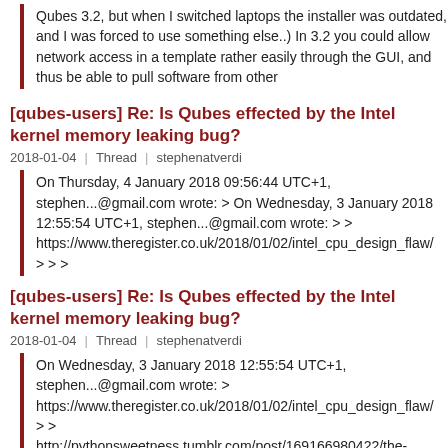Qubes 3.2, but when I switched laptops the installer was outdated, and I was forced to use something else..) In 3.2 you could allow network access in a template rather easily through the GUI, and thus be able to pull software from other
[qubes-users] Re: Is Qubes effected by the Intel kernel memory leaking bug?
2018-01-04   Thread   stephenatverdi
On Thursday, 4 January 2018 09:56:44 UTC+1, stephen...@gmail.com wrote: > On Wednesday, 3 January 2018 12:55:54 UTC+1, stephen...@gmail.com wrote: > > https://www.theregister.co.uk/2018/01/02/intel_cpu_design_flaw/ > > >
[qubes-users] Re: Is Qubes effected by the Intel kernel memory leaking bug?
2018-01-04   Thread   stephenatverdi
On Wednesday, 3 January 2018 12:55:54 UTC+1, stephen...@gmail.com wrote: > https://www.theregister.co.uk/2018/01/02/intel_cpu_design_flaw/ > > http://pythonsweetness.tumblr.com/post/169166980422/the-